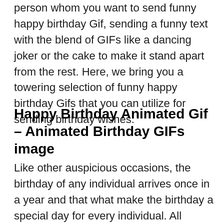person whom you want to send funny happy birthday Gif, sending a funny text with the blend of GIFs like a dancing joker or the cake to make it stand apart from the rest. Here, we bring you a towering selection of funny happy birthday Gifs that you can utilize for sending birthday wishes.
Happy Birthday Animated Gif – Animated Birthday GIFs image
Like other auspicious occasions, the birthday of any individual arrives once in a year and that what make the birthday a special day for every individual. All individuals eagerly wait for their birthday to arrive as, on that day, they receive plenty of animated birthday wishes, gifts, and